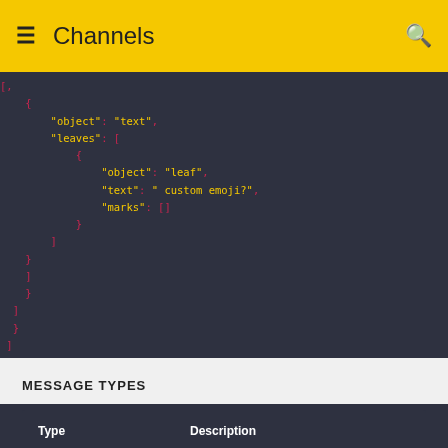☰ Channels 🔍
[
    {
        "object": "text",
        "leaves": [
            {
                "object": "leaf",
                "text": " custom emoji?",
                "marks": []
            }
        ]
    }
]
}
]
}
]
}
}
MESSAGE TYPES
| Type | Description |
| --- | --- |